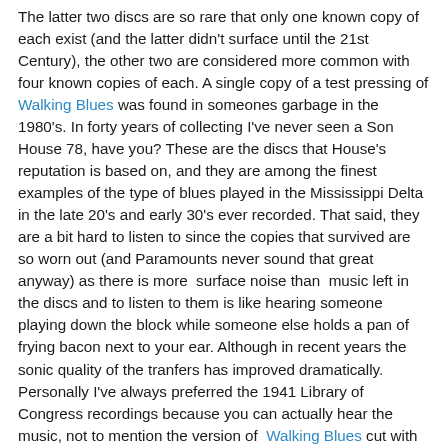The latter two discs are so rare that only one known copy of each exist (and the latter didn't surface until the 21st Century), the other two are considered more common with four known copies of each. A single copy of a test pressing of Walking Blues was found in someones garbage in the 1980's. In forty years of collecting I've never seen a Son House 78, have you? These are the discs that House's reputation is based on, and they are among the finest examples of the type of blues played in the Mississippi Delta in the late 20's and early 30's ever recorded. That said, they are a bit hard to listen to since the copies that survived are so worn out (and Paramounts never sound that great anyway) as there is more  surface noise than  music left in the discs and to listen to them is like hearing someone playing down the block while someone else holds a pan of frying bacon next to your ear. Although in recent years the sonic quality of the tranfers has improved dramatically.  Personally I've always preferred the 1941 Library of Congress recordings because you can actually hear the music, not to mention the version of  Walking Blues cut with a rocking little string band that remains the best example of what a Saturday night frolic might have sounded like, following Since Hood and a digital report in all the